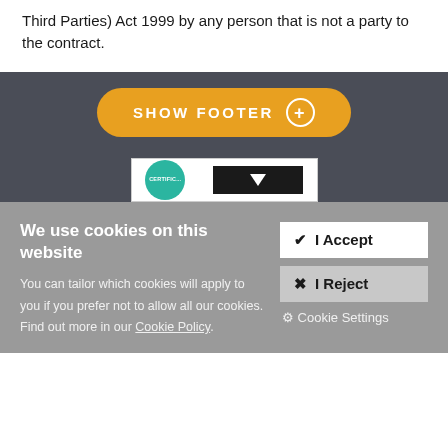Third Parties) Act 1999 by any person that is not a party to the contract.
[Figure (screenshot): Dark banner with yellow 'SHOW FOOTER +' button and a partial preview of a footer section below]
We use cookies on this website
You can tailor which cookies will apply to you if you prefer not to allow all our cookies. Find out more in our Cookie Policy.
✔ I Accept
✖ I Reject
⚙ Cookie Settings